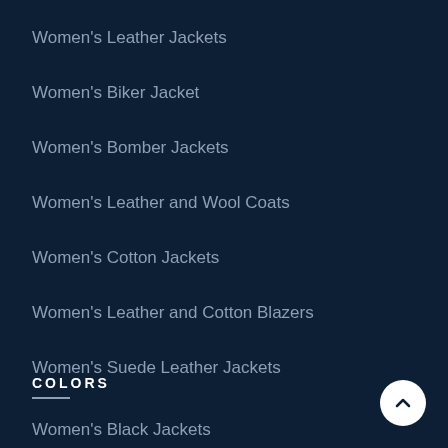Women's Leather Jackets
Women's Biker Jacket
Women's Bomber Jackets
Women's Leather and Wool Coats
Women's Cotton Jackets
Women's Leather and Cotton Blazers
Women's Suede Leather Jackets
COLORS
Women's Black Jackets